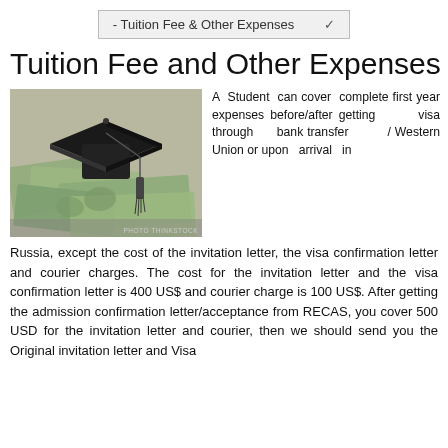- Tuition Fee & Other Expenses
Tuition Fee and Other Expenses
[Figure (photo): A black graduation cap (mortarboard) resting on a pile of US dollar bills. Photo credit: THINKSTOCK]
A Student can cover complete first year expenses before/after getting visa through bank transfer / Western Union or upon arrival in Russia, except the cost of the invitation letter, the visa confirmation letter and courier charges. The cost for the invitation letter and the visa confirmation letter is 400 US$ and courier charge is 100 US$. After getting the admission confirmation letter/acceptance from RECAS, you cover 500 USD for the invitation letter and courier, then we should send you the Original invitation letter and Visa